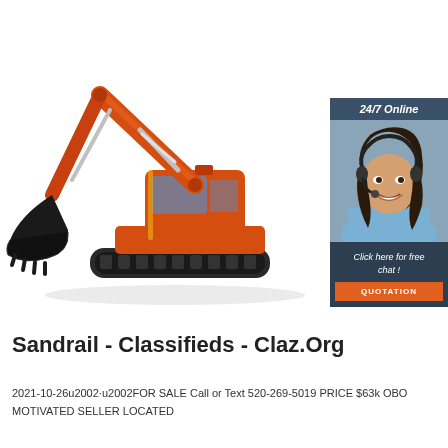[Figure (photo): Orange excavator/crawler crane with black bucket on white background]
[Figure (infographic): 24/7 Online chat banner with woman wearing headset, 'Click here for free chat!' text and orange QUOTATION button]
Sandrail - Classifieds - Claz.Org
2021-10-26u2002·u2002FOR SALE Call or Text 520-269-5019 PRICE $63k OBO MOTIVATED SELLER LOCATED